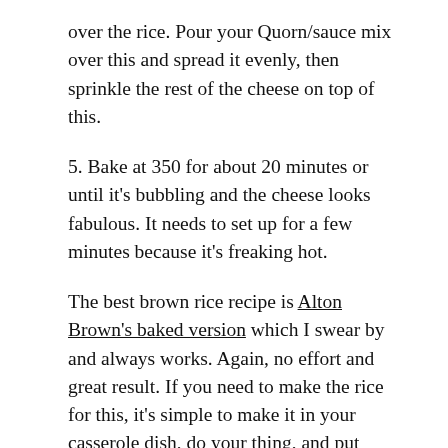over the rice. Pour your Quorn/sauce mix over this and spread it evenly, then sprinkle the rest of the cheese on top of this.
5. Bake at 350 for about 20 minutes or until it's bubbling and the cheese looks fabulous. It needs to set up for a few minutes because it's freaking hot.
The best brown rice recipe is Alton Brown's baked version which I swear by and always works. Again, no effort and great result. If you need to make the rice for this, it's simple to make it in your casserole dish, do your thing, and put everything back into your casserole dish. One less thing to wash is always WIN for me.
As a side note, I also do this with barbecue sauce instead of pasta sauce and that's super tasty too. I don't know why people have to be hating on casseroles. Especially